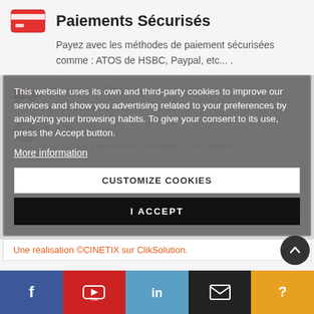Paiements Sécurisés
Payez avec les méthodes de paiement sécurisées comme : ATOS de HSBC, Paypal, etc... .
This website uses its own and third-party cookies to improve our services and show you advertising related to your preferences by analyzing your browsing habits. To give your consent to its use, press the Accept button.
More information
CUSTOMIZE COOKIES
I ACCEPT
Livraisons Chez Vous
Livraisons par transporteurs, chez-vous ou en points
Nous sommes à votre service pour répondre à vos questions.
Une réalisation ©CINETIX sur ClikSolution.